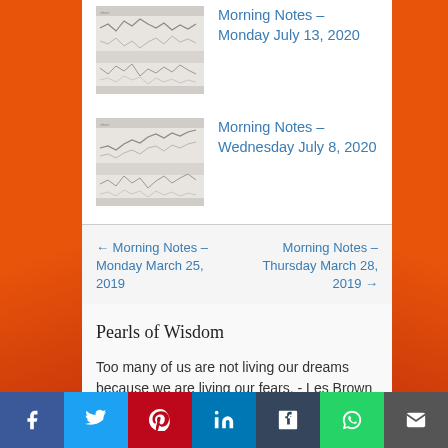[Figure (screenshot): Thumbnail of a financial chart for Morning Notes Monday July 13 2020]
Morning Notes – Monday July 13, 2020
[Figure (screenshot): Thumbnail of a financial chart for Morning Notes Wednesday July 8 2020]
Morning Notes – Wednesday July 8, 2020
← Morning Notes – Monday March 25, 2019
Morning Notes – Thursday March 28, 2019 →
Pearls of Wisdom
Too many of us are not living our dreams because we are living our fears. - Les Brown